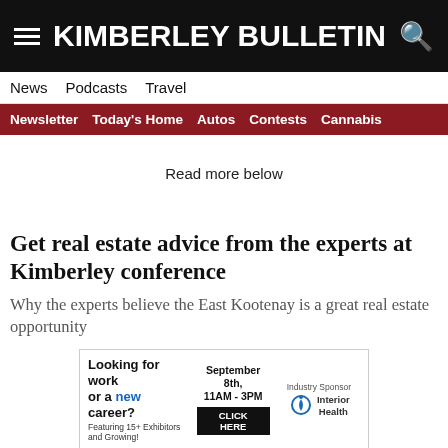KIMBERLEY BULLETIN
News  Podcasts  Travel
Newsletter  Today's Home  Autos  Contests  Cannabis
Read more below
Get real estate advice from the experts at Kimberley conference
Why the experts believe the East Kootenay is a great real estate opportunity
[Figure (infographic): Advertisement banner: Looking for work or a new career? Featuring 15+ Exhibitors and Growing! September 8th, 11AM - 3PM CLICK HERE. Industry Sponsor: Interior Health]